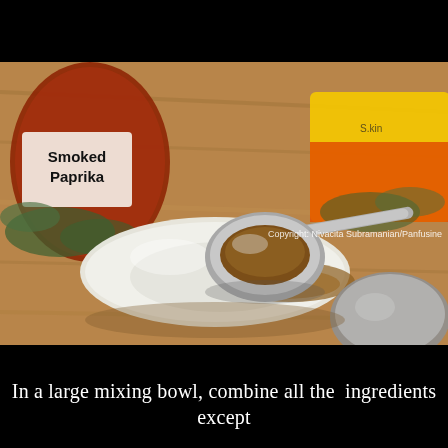[Figure (photo): Close-up photograph of a white ceramic spoon rest with a metal measuring spoon filled with brown spice (smoked paprika) resting on it. In the background, a red jar labeled 'Smoked Paprika' with a white label, a yellow-orange spice package, green herbs, and another metal spoon. The scene is set on a wooden surface. Copyright watermark reads: Copyright: Nivacita Subramanian/Panfusine]
In a large mixing bowl, combine all the  ingredients except